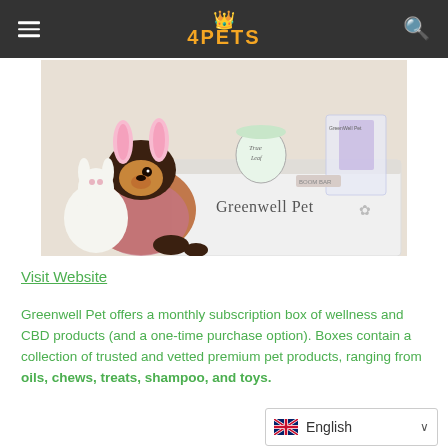4PETS
[Figure (photo): A dachshund dog wearing a pink sweater and bunny ears costume, sitting next to a white Greenwell Pet subscription box filled with pet wellness products including a jar of peanut butter, True Leaf products, and other pet items.]
Visit Website
Greenwell Pet offers a monthly subscription box of wellness and CBD products (and a one-time purchase option). Boxes contain a collection of trusted and vetted premium pet products, ranging from oils, chews, treats, shampoo, and toys.